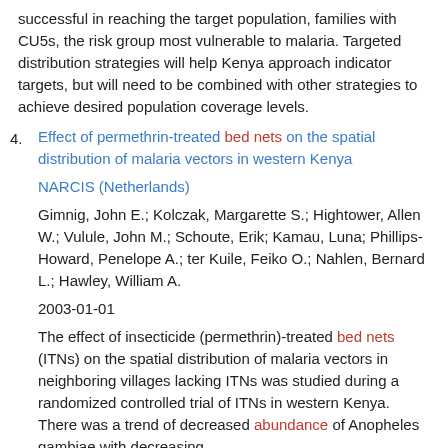successful in reaching the target population, families with CU5s, the risk group most vulnerable to malaria. Targeted distribution strategies will help Kenya approach indicator targets, but will need to be combined with other strategies to achieve desired population coverage levels.
4. Effect of permethrin-treated bed nets on the spatial distribution of malaria vectors in western Kenya
NARCIS (Netherlands)
Gimnig, John E.; Kolczak, Margarette S.; Hightower, Allen W.; Vulule, John M.; Schoute, Erik; Kamau, Luna; Phillips-Howard, Penelope A.; ter Kuile, Feiko O.; Nahlen, Bernard L.; Hawley, William A.
2003-01-01
The effect of insecticide (permethrin)-treated bed nets (ITNs) on the spatial distribution of malaria vectors in neighboring villages lacking ITNs was studied during a randomized controlled trial of ITNs in western Kenya. There was a trend of decreased abundance of Anopheles gambiae with decreasing